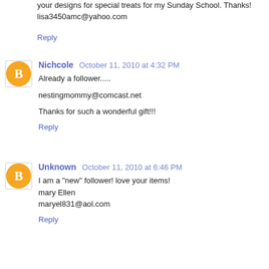your designs for special treats for my Sunday School. Thanks! lisa3450amc@yahoo.com
Reply
Nichcole  October 11, 2010 at 4:32 PM
Already a follower....
nestingmommy@comcast.net
Thanks for such a wonderful gift!!!
Reply
Unknown  October 11, 2010 at 6:46 PM
I am a "new" follower! love your items! mary Ellen maryel831@aol.com
Reply